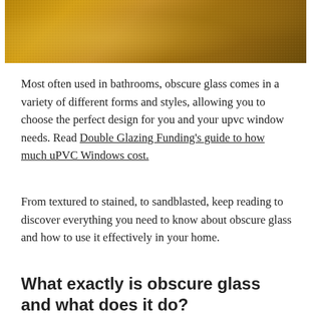[Figure (photo): Close-up photo of obscure/textured golden-brown glass with a shimmering, grainy surface texture.]
Most often used in bathrooms, obscure glass comes in a variety of different forms and styles, allowing you to choose the perfect design for you and your upvc window needs. Read Double Glazing Funding's guide to how much uPVC Windows cost.
From textured to stained, to sandblasted, keep reading to discover everything you need to know about obscure glass and how to use it effectively in your home.
What exactly is obscure glass and what does it do?